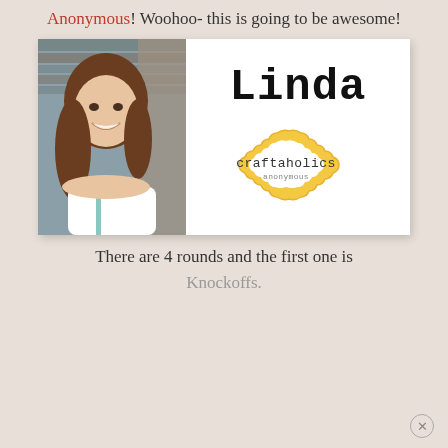Anonymous! Woohoo- this is going to be awesome!
[Figure (photo): Card with a photo of a smiling young woman with brown hair on the left side, and the name 'Linda' in large typewriter font with the Craftaholics Anonymous logo badge on the right side.]
There are 4 rounds and the first one is
Knockoffs.